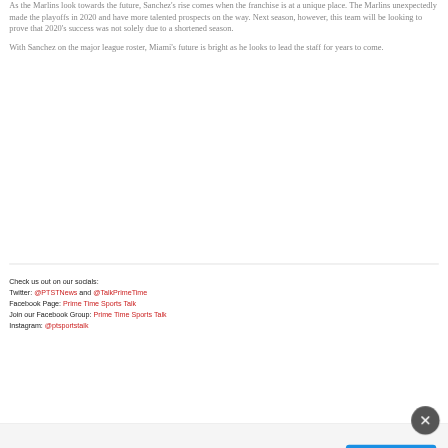As the Marlins look towards the future, Sanchez's rise comes when the franchise is at a unique place. The Marlins unexpectedly made the playoffs in 2020 and have more talented prospects on the way. Next season, however, this team will be looking to prove that 2020's success was not solely due to a shortened season.
With Sanchez on the major league roster, Miami's future is bright as he looks to lead the staff for years to come.
Check us out on our socials:
Twitter: @PTSTNews and @TalkPrimeTime
Facebook Page: Prime Time Sports Talk
Join our Facebook Group: Prime Time Sports Talk
Instagram: @ptsportstalk
[Figure (other): Advertisement banner for Firestone: 'Take Control Of Your Vehicle' with a DOWNLOAD button]